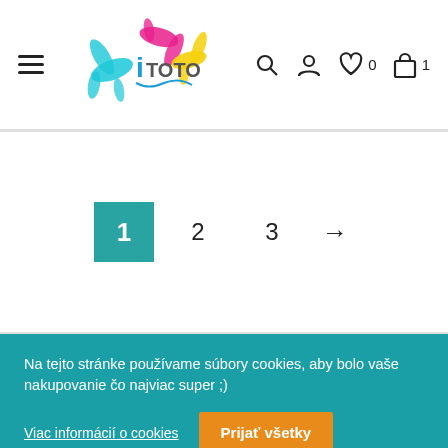[Figure (logo): TOTO colorful paint splash logo with cyan, magenta, yellow colors]
1  2  3  →
Na tejto stránke používame súbory cookies, aby bolo vaše nakupovanie čo najviac super ;)
Viac informácií o cookies
Prijať všetky